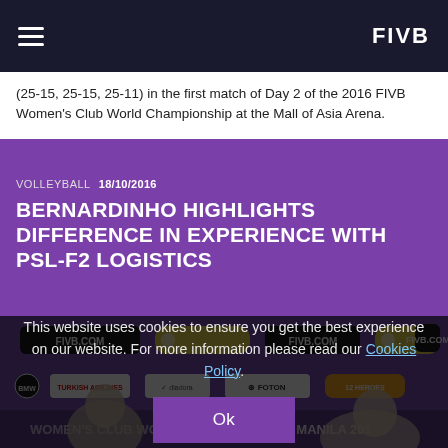FIVB navigation header with hamburger menu and FIVB logo
(25-15, 25-15, 25-11) in the first match of Day 2 of the 2016 FIVB Women's Club World Championship at the Mall of Asia Arena.
VOLLEYBALL  18/10/2016
BERNARDINHO HIGHLIGHTS DIFFERENCE IN EXPERIENCE WITH PSL-F2 LOGISTICS
[Figure (photo): Press conference photo at the 2016 FIVB Women's Club World Championship Manila, showing a coach and player seated at a table in front of a purple backdrop with FIVB.COM, Turkish Airlines, Foton and other sponsor logos. Text on backdrop reads 'WOMEN'S CLUB WORLD CHAMPIONSHIP MANILA 2016'.]
This website uses cookies to ensure you get the best experience on our website. For more information please read our Cookies Policy.
Ok